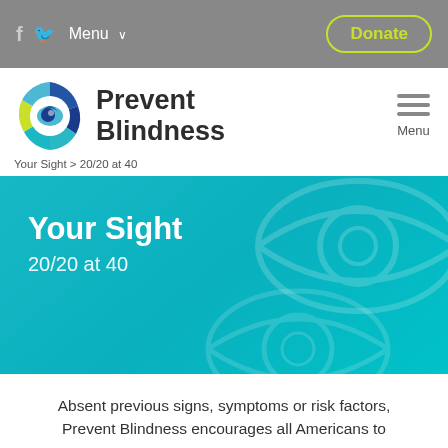f  [twitter]  Menu  Donate
[Figure (logo): Prevent Blindness logo with circular multicolored eye icon and bold text 'Prevent Blindness']
Your Sight > 20/20 at 40
[Figure (illustration): Teal banner with decorative eye outlines, bold white text 'Your Sight' and subtitle '20/20 at 40']
Absent previous signs, symptoms or risk factors, Prevent Blindness encourages all Americans to